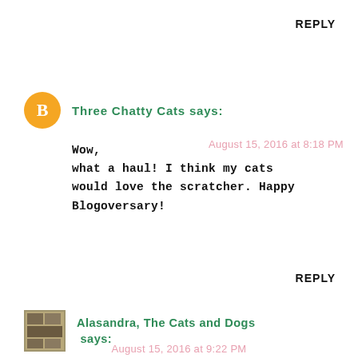REPLY
Three Chatty Cats says:
August 15, 2016 at 8:18 PM
Wow, what a haul! I think my cats would love the scratcher. Happy Blogoversary!
REPLY
Alasandra, The Cats and Dogs says:
August 15, 2016 at 9:22 PM